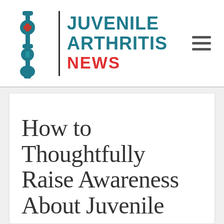[Figure (logo): Juvenile Arthritis News logo with stylized joint/skeleton icon in teal, a vertical black divider, and text 'JUVENILE ARTHRITIS' in teal bold and 'NEWS' in red bold]
How to Thoughtfully Raise Awareness About Juvenile